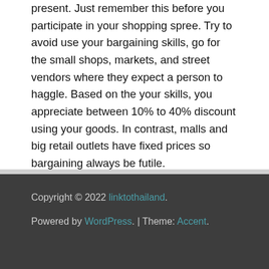present. Just remember this before you participate in your shopping spree. Try to avoid use your bargaining skills, go for the small shops, markets, and street vendors where they expect a person to haggle. Based on the your skills, you appreciate between 10% to 40% discount using your goods. In contrast, malls and big retail outlets have fixed prices so bargaining always be futile.
Copyright © 2022 linktothailand. Powered by WordPress. | Theme: Accent.